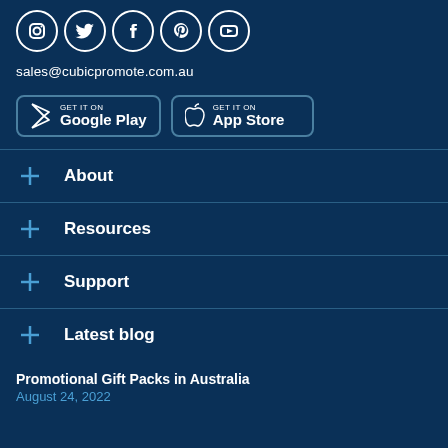[Figure (illustration): Row of five social media icons (Instagram, Twitter, Facebook, Pinterest, YouTube) as white circles with white logos on dark blue background]
sales@cubicpromote.com.au
[Figure (illustration): Two app store buttons: GET IT ON Google Play and GET IT ON App Store, with outlined rounded rectangle borders]
About
Resources
Support
Latest blog
Promotional Gift Packs in Australia
August 24, 2022